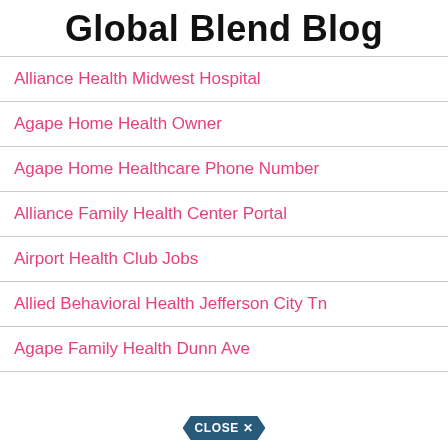Global Blend Blog
Alliance Health Midwest Hospital
Agape Home Health Owner
Agape Home Healthcare Phone Number
Alliance Family Health Center Portal
Airport Health Club Jobs
Allied Behavioral Health Jefferson City Tn
Agape Family Health Dunn Ave